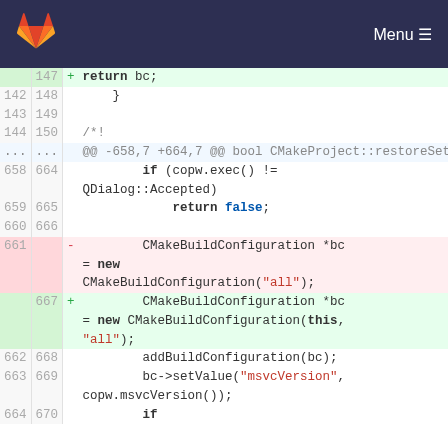GitLab navigation bar with logo and Menu button
[Figure (screenshot): GitLab code diff view showing changes to CMakeBuildConfiguration in a C++ source file. Lines 142-664 old, 147-670 new, with a deletion of CMakeBuildConfiguration('all') and addition of CMakeBuildConfiguration(this, 'all').]